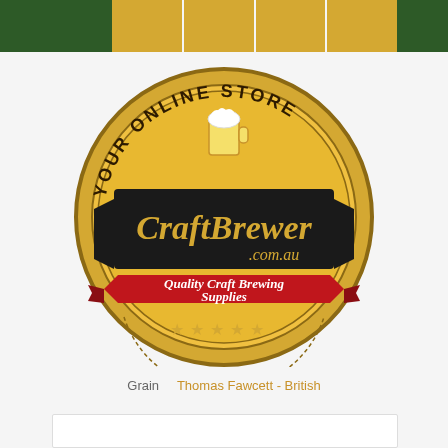[Figure (logo): CraftBrewer.com.au logo — circular gold badge with text 'YOUR ONLINE STORE' along the arc, a black rectangular banner with 'CraftBrewer .com.au' in gold italic script, a red ribbon banner reading 'Quality Craft Brewing Supplies', and five gold stars at the bottom, with a beer mug illustration at the top center.]
Grain   Thomas Fawcett - British